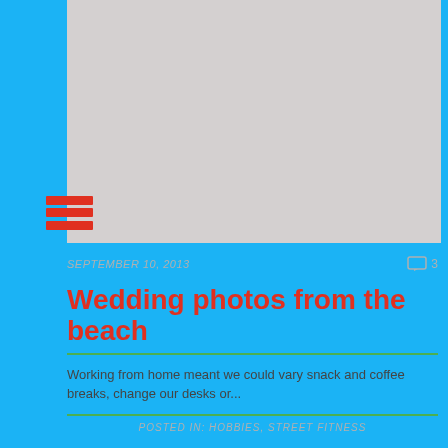[Figure (photo): Gray placeholder image at the top of the blog post]
[Figure (illustration): Red hamburger menu icon with three horizontal bars]
SEPTEMBER 10, 2013
Wedding photos from the beach
Working from home meant we could vary snack and coffee breaks, change our desks or...
POSTED IN: HOBBIES, STREET FITNESS
•
[Figure (photo): Gray placeholder image for a second blog post]